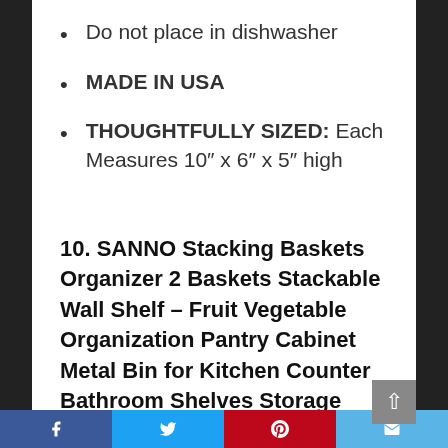Do not place in dishwasher
MADE IN USA
THOUGHTFULLY SIZED: Each Measures 10″ x 6″ x 5″ high
10. SANNO Stacking Baskets Organizer 2 Baskets Stackable Wall Shelf – Fruit Vegetable Organization Pantry Cabinet Metal Bin for Kitchen Counter Bathroom Shelves Storage